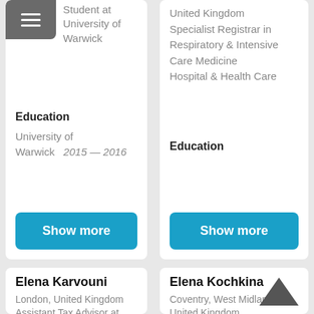Student at University of Warwick
Education
University of Warwick   2015 — 2016
Show more
United Kingdom
Specialist Registrar in Respiratory & Intensive Care Medicine
Hospital & Health Care
Education
Show more
Elena Karvouni
London, United Kingdom
Assistant Tax Advisor at
Elena Kochkina
Coventry, West Midlands, United Kingdom